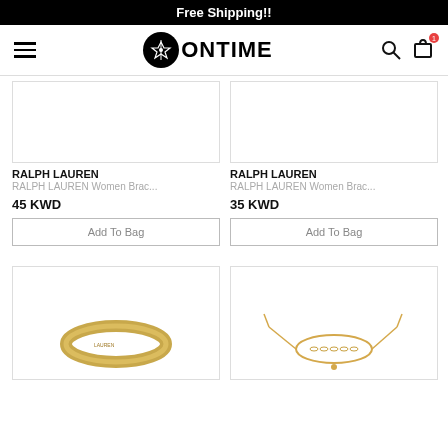Free Shipping!!
[Figure (logo): ONTIME brand logo with black circle icon and text]
[Figure (photo): Ralph Lauren women bracelet product image (top left, partially visible)]
RALPH LAUREN
RALPH LAUREN Women Brac...
45 KWD
Add To Bag
[Figure (photo): Ralph Lauren women bracelet product image (top right, partially visible)]
RALPH LAUREN
RALPH LAUREN Women Brac...
35 KWD
Add To Bag
[Figure (photo): Gold bangle ring product image (bottom left)]
[Figure (photo): Gold adjustable bracelet product image (bottom right)]